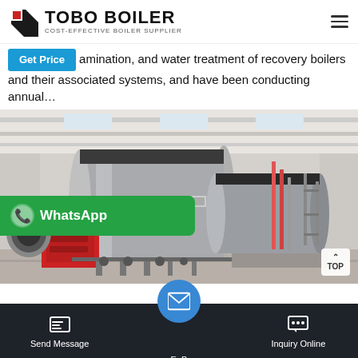TOBO BOILER — COST-EFFECTIVE BOILER SUPPLIER
amination, and water treatment of recovery boilers and their associated systems, and have been conducting annual…
[Figure (photo): Industrial boiler installation inside a factory building — two large horizontal cylindrical steam boilers (silver/grey) with red burner assembly mounted at the front, pipes, valves, and equipment visible, white ceiling with skylights.]
WhatsApp
Send Message | Email | Inquiry Online